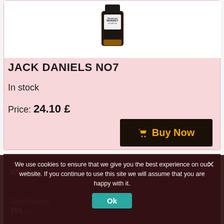[Figure (photo): Jack Daniels No7 whiskey bottle product photo on white background]
JACK DANIELS NO7
In stock
Price: 24.10 £
Buy Now
We use cookies to ensure that we give you the best experience on our website. If you continue to use this site we will assume that you are happy with it.
Ok
Type
Whiskey
Size/Volume: